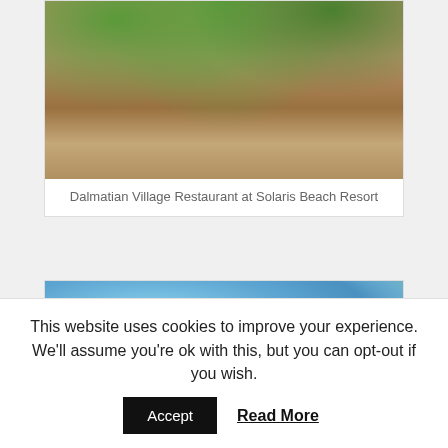[Figure (photo): Outdoor restaurant with wooden tables and benches, striped tablecloths, rustic stone building with vegetation, Dalmatian Village Restaurant at Solaris Beach Resort]
Dalmatian Village Restaurant at Solaris Beach Resort
[Figure (photo): Upward view of pine trees and blue sky with a terracotta/reddish rocky surface at the bottom]
This website uses cookies to improve your experience. We'll assume you're ok with this, but you can opt-out if you wish.
Accept
Read More